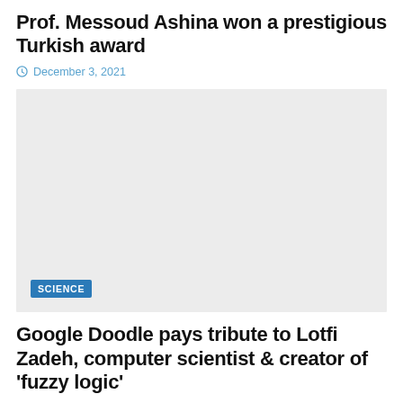Prof. Messoud Ashina won a prestigious Turkish award
December 3, 2021
[Figure (photo): Large grey placeholder image with a 'SCIENCE' category badge in the lower left corner]
Google Doodle pays tribute to Lotfi Zadeh, computer scientist & creator of 'fuzzy logic'